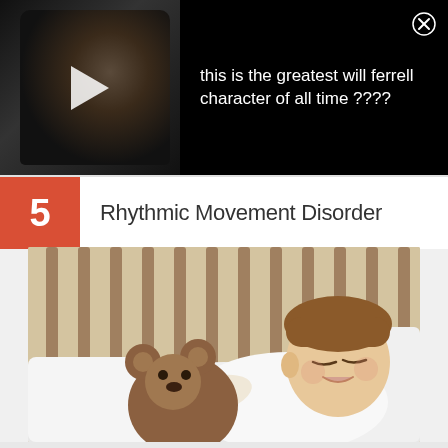[Figure (screenshot): Video ad banner showing a dark close-up of a man's face with a white play button overlay, and text reading 'this is the greatest will ferrell character of all time ????' on a black background with a close X button]
5 Rhythmic Movement Disorder
[Figure (photo): A young toddler sleeping in a wooden crib, hugging a brown teddy bear, lying on white pillows and bedding]